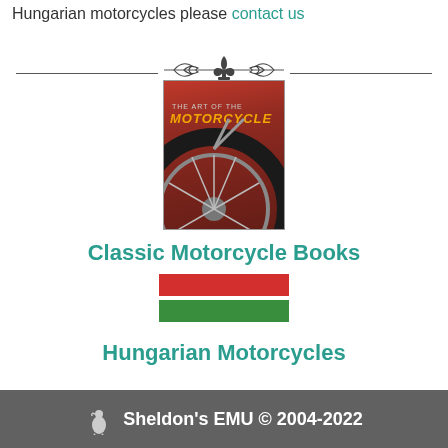Hungarian motorcycles please contact us
[Figure (illustration): Decorative horizontal divider with fleur-de-lis ornament flanked by scrollwork, between two horizontal lines]
[Figure (photo): Book cover for 'The Art of the Motorcycle' showing a close-up of a classic red motorcycle wheel and front fork]
Classic Motorcycle Books
[Figure (illustration): Hungarian flag - two horizontal bars: red on top, green on bottom (simplified two-stripe version)]
Hungarian Motorcycles
Sheldon's EMU © 2004-2022